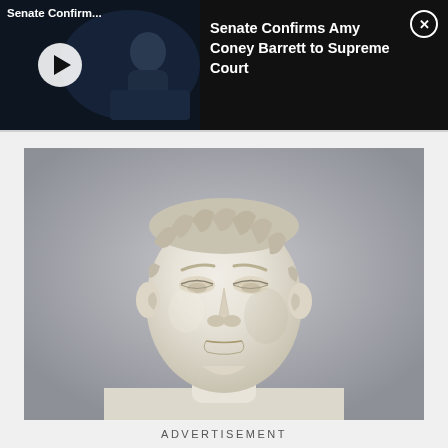[Figure (screenshot): Video notification banner with dark background showing Amy Coney Barrett confirmation hearing footage. Left side shows video thumbnail with play button and truncated title 'Senate Confirm...'. Right side shows full title text and close button.]
Senate Confirms Amy Coney Barrett to Supreme Court
[Figure (photo): Close-up photograph of a white marble Roman/classical bust sculpture of a young man with short curled hair, against a neutral gray background.]
ADVERTISEMENT